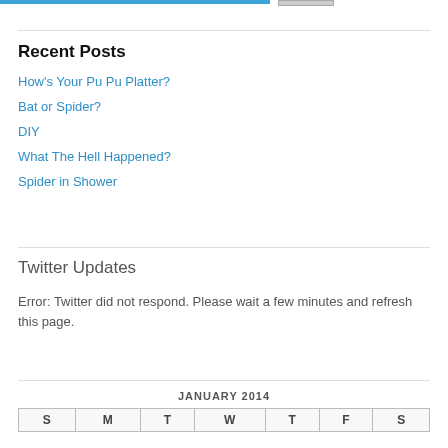Recent Posts
How's Your Pu Pu Platter?
Bat or Spider?
DIY
What The Hell Happened?
Spider in Shower
Twitter Updates
Error: Twitter did not respond. Please wait a few minutes and refresh this page.
| S | M | T | W | T | F | S |
| --- | --- | --- | --- | --- | --- | --- |